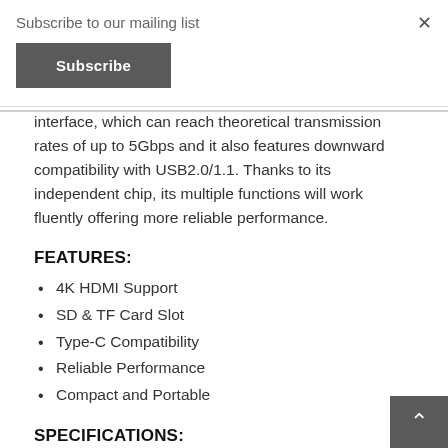Subscribe to our mailing list
×
Subscribe
interface, which can reach theoretical transmission rates of up to 5Gbps and it also features downward compatibility with USB2.0/1.1. Thanks to its independent chip, its multiple functions will work fluently offering more reliable performance.
FEATURES:
4K HDMI Support
SD & TF Card Slot
Type-C Compatibility
Reliable Performance
Compact and Portable
SPECIFICATIONS: